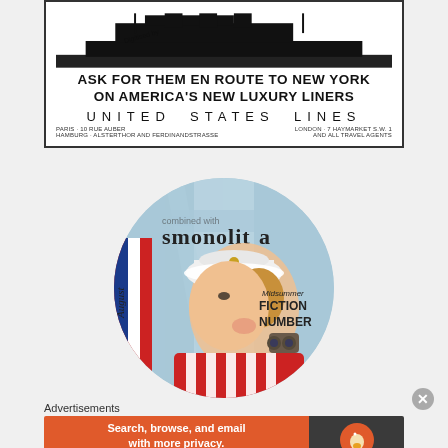[Figure (illustration): Vintage United States Lines advertisement poster showing a ship silhouette at top, with bold text: 'ASK FOR THEM EN ROUTE TO NEW YORK ON AMERICA'S NEW LUXURY LINERS', 'UNITED STATES LINES', and office addresses for Paris, London, Hamburg.]
[Figure (photo): Circular cropped image of a vintage Cosmopolitan magazine cover showing a woman in a white sailor hat and red striped outfit holding binoculars, with text 'Midsummer FICTION NUMBER' and 'August'.]
Advertisements
[Figure (screenshot): DuckDuckGo advertisement banner: orange left section with text 'Search, browse, and email with more privacy. All in One Free App'; dark right section with DuckDuckGo duck logo and 'DuckDuckGo' label.]